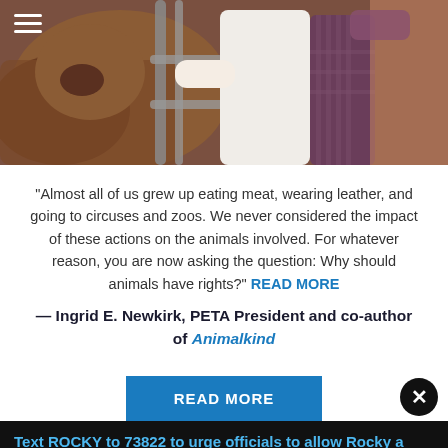[Figure (photo): A person in a white shirt and plaid vest reaching through metal fence bars toward brown cattle in a farm or livestock setting.]
“Almost all of us grew up eating meat, wearing leather, and going to circuses and zoos. We never considered the impact of these actions on the animals involved. For whatever reason, you are now asking the question: Why should animals have rights?” READ MORE
— Ingrid E. Newkirk, PETA President and co-author of Animalkind
READ MORE
Text ROCKY to 73822 to urge officials to allow Rocky a lone coyote, who is pacing in apparent distress in a tiny cage, to move to an accredited sanctuary.
Terms for automated texts/calls from PETA: http://peta.vg/txt. Text STOP to end, HELP for more info. Msg/data rates may apply. U.S. only.